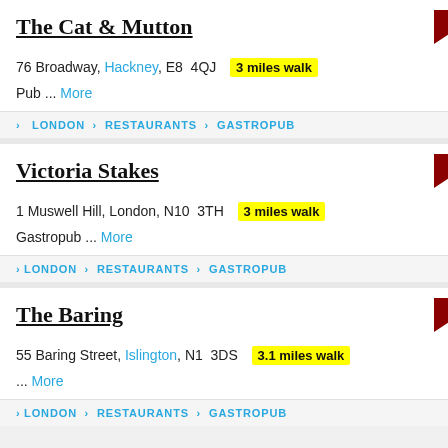The Cat & Mutton
76 Broadway, Hackney, E8  4QJ   3 miles walk
Pub ...  More
> LONDON  >  RESTAURANTS  >  GASTROPUB
Victoria Stakes
1 Muswell Hill, London, N10  3TH   3 miles walk
Gastropub ...  More
> LONDON  >  RESTAURANTS  >  GASTROPUB
The Baring
55 Baring Street, Islington, N1  3DS   3.1 miles walk
... More
> LONDON  >  RESTAURANTS  >  GASTROPUB